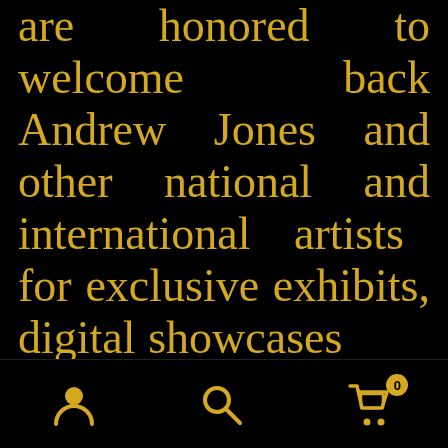are honored to welcome back Andrew Jones and other national and international artists for exclusive exhibits, digital showcases and live painting. The 2014 Moksha Art Fair is dedicated to the 20th Anniversary edition of
[Figure (other): Mobile app navigation footer bar with three icons: user/profile icon, search/magnifying glass icon, and shopping cart icon with badge showing '0']